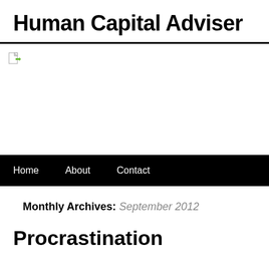Human Capital Adviser
[Figure (photo): Header banner image (broken/not loaded), with a small broken image icon in the top-left corner]
Home  About  Contact
Monthly Archives: September 2012
Procrastination